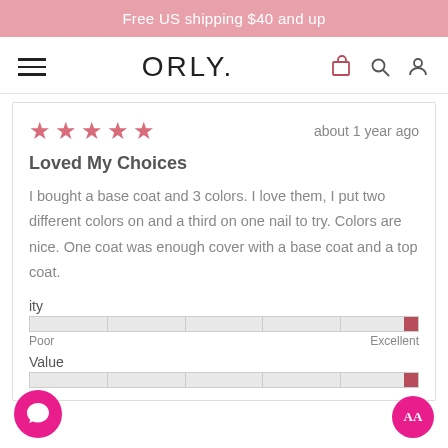Free US shipping $40 and up
ORLY.
about 1 year ago
Loved My Choices
I bought a base coat and 3 colors. I love them, I put two different colors on and a third on one nail to try. Colors are nice. One coat was enough cover with a base coat and a top coat.
Quality  Poor  Excellent
Value